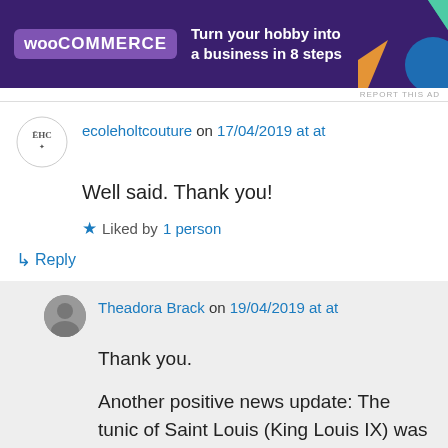[Figure (other): WooCommerce advertisement banner: purple background with WooCommerce logo and text 'Turn your hobby into a business in 8 steps']
REPORT THIS AD
ecoleholtcouture on 17/04/2019 at at
Well said. Thank you!
Liked by 1 person
↳ Reply
Theadora Brack on 19/04/2019 at at
Thank you.

Another positive news update: The tunic of Saint Louis (King Louis IX) was also rescued. A hair shirt, I do believe. The art